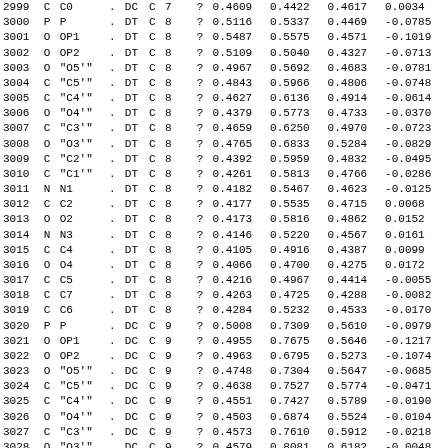| 2999 | C | C0 | . | DC | C | 7 | ? | 0.4609 | 0.4422 | 0.4617 | 0.0034 |
| 3000 | P | P | . | DT | C | 8 | ? | 0.5116 | 0.5337 | 0.4469 | -0.0785 |
| 3001 | O | OP1 | . | DT | C | 8 | ? | 0.5487 | 0.5575 | 0.4571 | -0.1019 |
| 3002 | O | OP2 | . | DT | C | 8 | ? | 0.5109 | 0.5040 | 0.4327 | -0.0713 |
| 3003 | O | "O5'" | . | DT | C | 8 | ? | 0.4967 | 0.5692 | 0.4683 | -0.0781 |
| 3004 | C | "C5'" | . | DT | C | 8 | ? | 0.4843 | 0.5966 | 0.4806 | -0.0748 |
| 3005 | C | "C4'" | . | DT | C | 8 | ? | 0.4627 | 0.6136 | 0.4914 | -0.0614 |
| 3006 | O | "O4'" | . | DT | C | 8 | ? | 0.4379 | 0.5773 | 0.4733 | -0.0370 |
| 3007 | C | "C3'" | . | DT | C | 8 | ? | 0.4659 | 0.6250 | 0.4970 | -0.0723 |
| 3008 | O | "O3'" | . | DT | C | 8 | ? | 0.4765 | 0.6833 | 0.5284 | -0.0829 |
| 3009 | C | "C2'" | . | DT | C | 8 | ? | 0.4392 | 0.5959 | 0.4832 | -0.0495 |
| 3010 | C | "C1'" | . | DT | C | 8 | ? | 0.4261 | 0.5813 | 0.4766 | -0.0286 |
| 3011 | N | N1 | . | DT | C | 8 | ? | 0.4182 | 0.5467 | 0.4623 | -0.0125 |
| 3012 | C | C2 | . | DT | C | 8 | ? | 0.4177 | 0.5535 | 0.4715 | 0.0068 |
| 3013 | O | O2 | . | DT | C | 8 | ? | 0.4173 | 0.5816 | 0.4862 | 0.0152 |
| 3014 | N | N3 | . | DT | C | 8 | ? | 0.4146 | 0.5220 | 0.4567 | 0.0161 |
| 3015 | C | C4 | . | DT | C | 8 | ? | 0.4105 | 0.4916 | 0.4387 | 0.0099 |
| 3016 | O | O4 | . | DT | C | 8 | ? | 0.4066 | 0.4700 | 0.4275 | 0.0172 |
| 3017 | C | C5 | . | DT | C | 8 | ? | 0.4216 | 0.4967 | 0.4414 | -0.0055 |
| 3018 | C | C7 | . | DT | C | 8 | ? | 0.4263 | 0.4725 | 0.4288 | -0.0082 |
| 3019 | C | C6 | . | DT | C | 8 | ? | 0.4284 | 0.5232 | 0.4533 | -0.0170 |
| 3020 | P | P | . | DC | C | 9 | ? | 0.5008 | 0.7309 | 0.5610 | -0.0979 |
| 3021 | O | OP1 | . | DC | C | 9 | ? | 0.4955 | 0.7675 | 0.5646 | -0.1217 |
| 3022 | O | OP2 | . | DC | C | 9 | ? | 0.4963 | 0.6795 | 0.5273 | -0.1074 |
| 3023 | O | "O5'" | . | DC | C | 9 | ? | 0.4748 | 0.7304 | 0.5647 | -0.0685 |
| 3024 | C | "C5'" | . | DC | C | 9 | ? | 0.4638 | 0.7527 | 0.5774 | -0.0471 |
| 3025 | C | "C4'" | . | DC | C | 9 | ? | 0.4551 | 0.7427 | 0.5789 | -0.0190 |
| 3026 | O | "O4'" | . | DC | C | 9 | ? | 0.4503 | 0.6874 | 0.5524 | -0.0104 |
| 3027 | C | "C3'" | . | DC | C | 9 | ? | 0.4573 | 0.7610 | 0.5912 | -0.0218 |
| 3028 | O | "O3'" | . | DC | C | 9 | ? | 0.4579 | 0.8081 | 0.6182 | -0.0048 |
| 3029 | C | "C2'" | . | DC | C | 9 | ? | 0.4493 | 0.7071 | 0.5656 | -0.0096 |